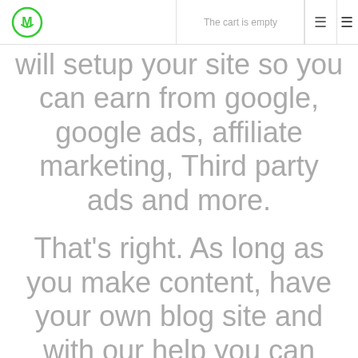The cart is empty
[Figure (logo): Circular logo with letter M and a smiley face, green border]
will setup your site so you can earn from google, google ads, affiliate marketing, Third party ads and more.
That's right. As long as you make content, have your own blog site and with our help you can earn forever.
Ready to use, Free subdomain, Free Hosting, Free SSL subdomain and more.